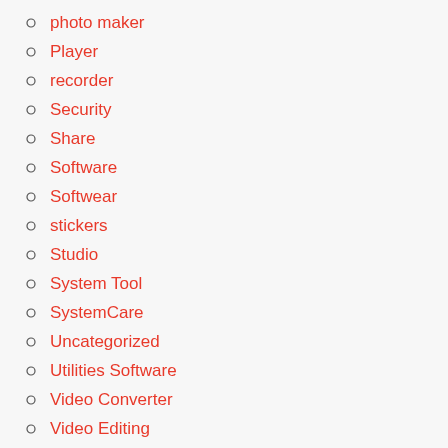photo maker
Player
recorder
Security
Share
Software
Softwear
stickers
Studio
System Tool
SystemCare
Uncategorized
Utilities Software
Video Converter
Video Editing